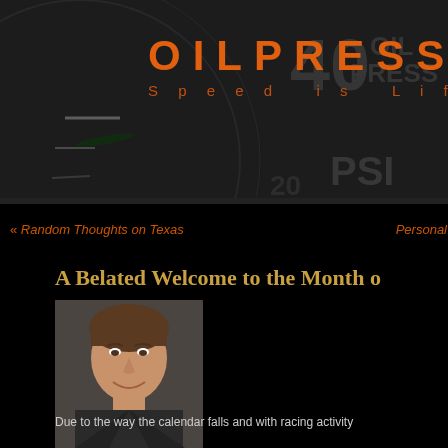[Figure (photo): Dark oil pressure gauge background with numbers 40 and markings, PSI text visible]
OILPRESS
Speed is Lif
« Random Thoughts on Texas
Personal R
A Belated Welcome to the Month o
[Figure (photo): Headshot of a middle-aged man with dark hair, wearing a dark jacket, smiling]
Due to the way the calendar falls and with racing activity